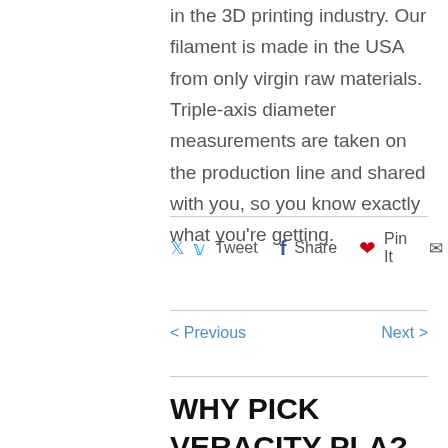in the 3D printing industry. Our filament is made in the USA from only virgin raw materials. Triple-axis diameter measurements are taken on the production line and shared with you, so you know exactly what you're getting.
Tweet  Share  Pin It  Email
< Previous   Next >
WHY PICK VERACITY PLA?